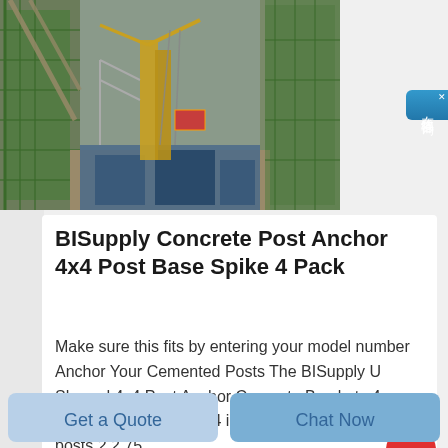[Figure (photo): Aerial view of a construction site showing deep excavation with green safety netting on walls, a large yellow crane/lifting equipment in the center, blue machinery and containers at the bottom, and workers/scaffolding visible throughout.]
BISupply Concrete Post Anchor 4x4 Post Base Spike 4 Pack
Make sure this fits by entering your model number Anchor Your Cemented Posts The BISupply U Shaped 4x4 Post Anchor Concrete Brackets 4 Pack fits standard 4 x 4 inch 10.2 x 10.2 cm square posts 2.2 75